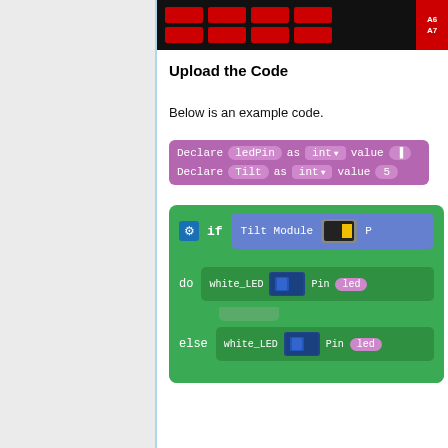[Figure (screenshot): Partial view of a red grid board (Arduino-like) with A6/A7 labels visible in the top-right corner, on dark background]
Upload the Code
Below is an example code.
[Figure (screenshot): Block-based programming code showing: two purple 'Declare ledPin as int value' and 'Declare Tilt as int value 5' blocks, followed by a green if-do-else block with Tilt Module condition, white_LED Pin actions in do and else branches]